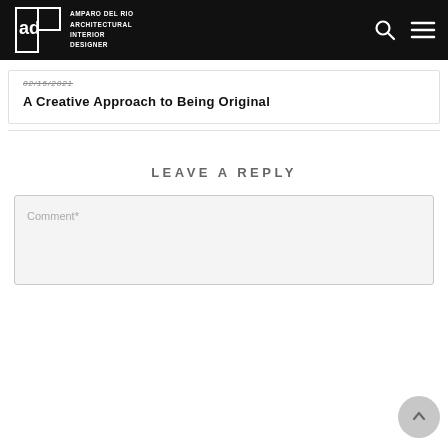AMPARO DEL RIO ARCHITECTURAL INTERIOR DESIGNER
02/15/2021
A Creative Approach to Being Original
LEAVE A REPLY
Comment*